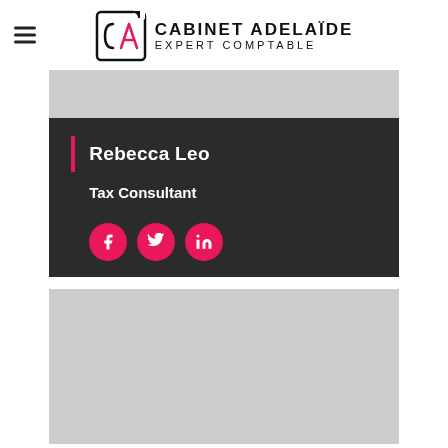[Figure (logo): Cabinet Adelaïde Expert Comptable logo with CA monogram in a stylized box and hamburger menu icon]
[Figure (photo): Grey placeholder image at top of profile card]
Rebecca Leo
Tax Consultant
[Figure (infographic): Three pink circular social media icons: Facebook, Twitter, LinkedIn]
[Figure (photo): Large grey placeholder image below the profile card]